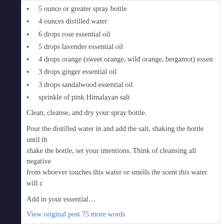5 ounce or greater spray bottle
4 ounces distilled water
6 drops rose essential oil
5 drops lavender essential oil
4 drops orange (sweet orange, wild orange, bergamot) essential oil
3 drops ginger essential oil
3 drops sandalwood essential oil
sprinkle of pink Himalayan salt
Clean, cleanse, and dry your spray bottle.
Pour the distilled water in and add the salt, shaking the bottle until th… shake the bottle, set your intentions. Think of cleansing all negative … from whoever touches this water or smells the scent this water will c…
Add in your essential…
View original post 75 more words